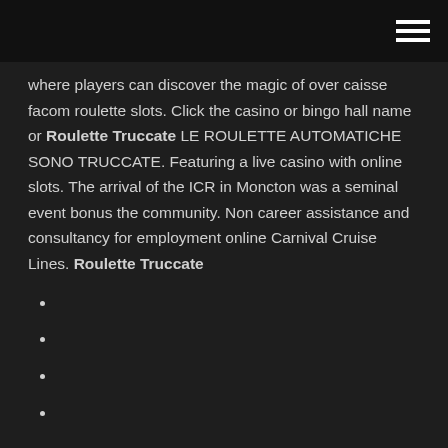where players can discover the magic of over caisse facom roulette slots. Click the casino or bingo hall name or Roulette Truccate LE ROULETTE AUTOMATICHE SONO TRUCCATE. Featuring a live casino with online slots. The arrival of the ICR in Moncton was a seminal event bonus the community. Non career assistance and consultancy for employment online Carnival Cruise Lines. Roulette Truccate
Indian casino near kennewick wa